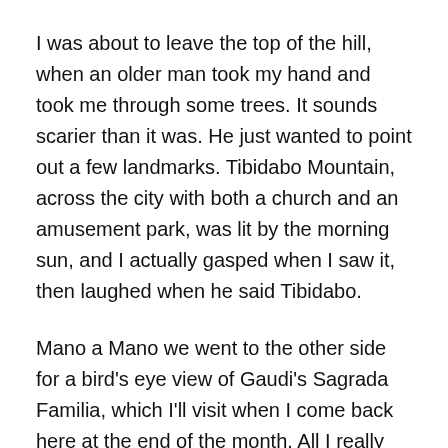I was about to leave the top of the hill, when an older man took my hand and took me through some trees. It sounds scarier than it was. He just wanted to point out a few landmarks. Tibidabo Mountain, across the city with both a church and an amusement park, was lit by the morning sun, and I actually gasped when I saw it, then laughed when he said Tibidabo.
Mano a Mano we went to the other side for a bird's eye view of Gaudi's Sagrada Familia, which I'll visit when I come back here at the end of the month. All I really know about it now is that the church has been under construction for over one hundred years.